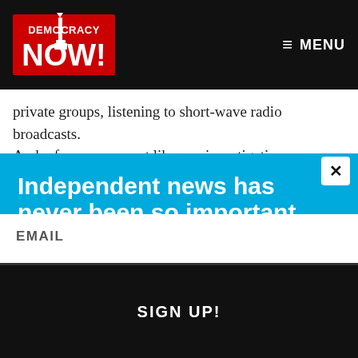[Figure (logo): Democracy Now! logo in red and white on dark background, with liberty torch icon]
≡ MENU
private groups, listening to short-wave radio broadcasts. And, of course, we act like any investigative newspaper.
Independent news has never been so important.
Did you know that you can get Democracy Now! delivered to your inbox every day? Sign up for our Daily News Digest today! Don't worry, we'll never share or sell your information.
EMAIL
SIGN UP!